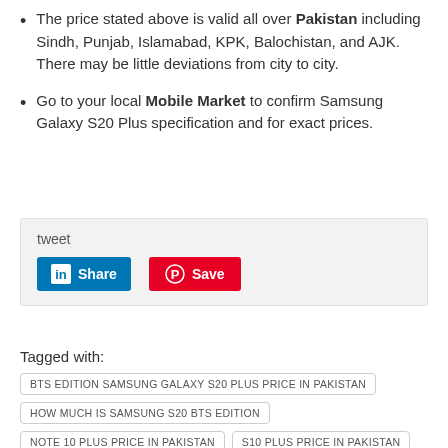The price stated above is valid all over Pakistan including Sindh, Punjab, Islamabad, KPK, Balochistan, and AJK. There may be little deviations from city to city.
Go to your local Mobile Market to confirm Samsung Galaxy S20 Plus specification and for exact prices.
tweet
[Figure (other): LinkedIn Share button and Pinterest Save button]
Tagged with:
BTS EDITION SAMSUNG GALAXY S20 PLUS PRICE IN PAKISTAN
HOW MUCH IS SAMSUNG S20 BTS EDITION
NOTE 10 PLUS PRICE IN PAKISTAN
S10 PLUS PRICE IN PAKISTAN
S20 PLUS OLX
SAMSUNG A20 PLUS PRICE IN PAKISTAN
SAMSUNG GALAXY S20 FE PLUS PRICE IN PAKISTAN